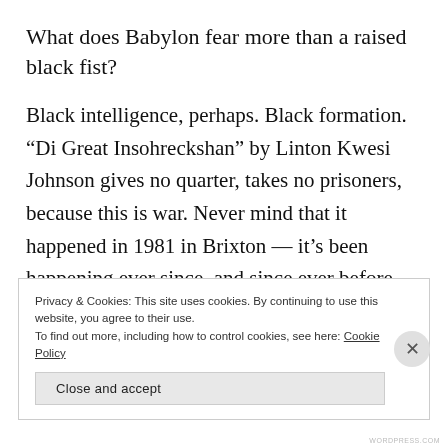What does Babylon fear more than a raised black fist?
Black intelligence, perhaps. Black formation. “Di Great Insohreckshan” by Linton Kwesi Johnson gives no quarter, takes no prisoners, because this is war. Never mind that it happened in 1981 in Brixton — it’s been happening ever since, and since ever before. Sometimes black people fight it with words in dockets, with homilys and manifestos read from the safety of a high wall. Sometimes, black war means burning tyres,
Privacy & Cookies: This site uses cookies. By continuing to use this website, you agree to their use.
To find out more, including how to control cookies, see here: Cookie Policy
Close and accept